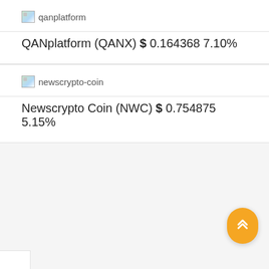[Figure (logo): Broken image placeholder for qanplatform logo with alt text 'qanplatform']
QANplatform (QANX) $ 0.164368 7.10%
[Figure (logo): Broken image placeholder for newscrypto-coin logo with alt text 'newscrypto-coin']
Newscrypto Coin (NWC) $ 0.754875 5.15%